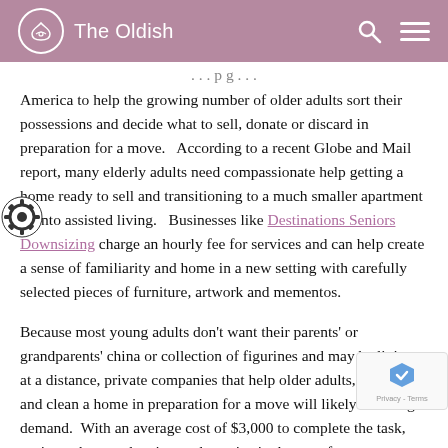The Oldish
America to help the growing number of older adults sort their possessions and decide what to sell, donate or discard in preparation for a move.   According to a recent Globe and Mail report, many elderly adults need compassionate help getting a home ready to sell and transitioning to a much smaller apartment or into assisted living.   Businesses like Destinations Seniors Downsizing charge an hourly fee for services and can help create a sense of familiarity and home in a new setting with carefully selected pieces of furniture, artwork and mementos.
Because most young adults don't want their parents' or grandparents' china or collection of figurines and may be living at a distance, private companies that help older adults, sort, move and clean a home in preparation for a move will likely be in high demand.  With an average cost of $3,000 to complete the task, seniors who are planning to downsize in the near future may want to consider doing some of their own purging.  By asking yourself, "Do I need it?" Do I use it? and "Will I want it?" that task becomes a